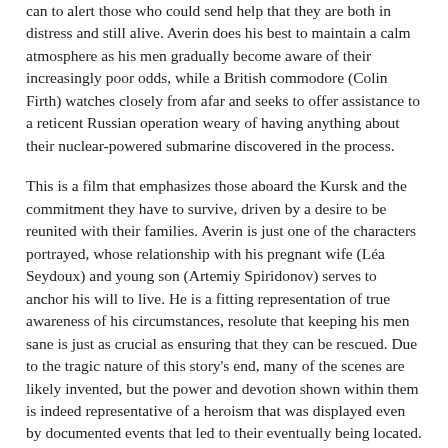can to alert those who could send help that they are both in distress and still alive. Averin does his best to maintain a calm atmosphere as his men gradually become aware of their increasingly poor odds, while a British commodore (Colin Firth) watches closely from afar and seeks to offer assistance to a reticent Russian operation weary of having anything about their nuclear-powered submarine discovered in the process.
This is a film that emphasizes those aboard the Kursk and the commitment they have to survive, driven by a desire to be reunited with their families. Averin is just one of the characters portrayed, whose relationship with his pregnant wife (Léa Seydoux) and young son (Artemiy Spiridonov) serves to anchor his will to live. He is a fitting representation of true awareness of his circumstances, resolute that keeping his men sane is just as crucial as ensuring that they can be rescued. Due to the tragic nature of this story's end, many of the scenes are likely invented, but the power and devotion shown within them is indeed representative of a heroism that was displayed even by documented events that led to their eventually being located.